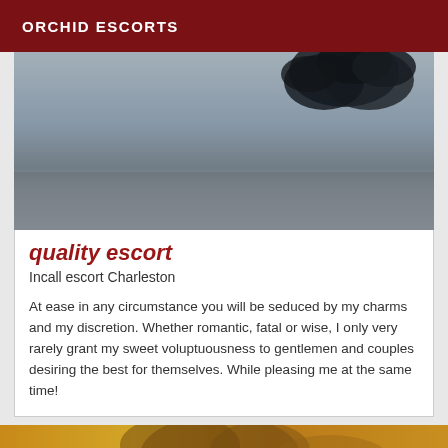ORCHID ESCORTS
[Figure (photo): Dark moody photo showing what appears to be a dark tree silhouette against a grey sky background]
quality escort
Incall escort Charleston
At ease in any circumstance you will be seduced by my charms and my discretion. Whether romantic, fatal or wise, I only very rarely grant my sweet voluptuousness to gentlemen and couples desiring the best for themselves. While pleasing me at the same time!
[Figure (photo): Partially visible photo at bottom of page showing a person with warm golden/yellow tones]